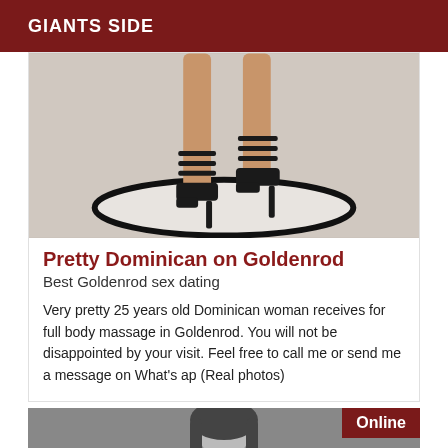GIANTS SIDE
[Figure (photo): Photo of a woman's legs wearing black strappy high heels, standing on a round black-rimmed white mat]
Pretty Dominican on Goldenrod
Best Goldenrod sex dating
Very pretty 25 years old Dominican woman receives for full body massage in Goldenrod. You will not be disappointed by your visit. Feel free to call me or send me a message on What's ap (Real photos)
[Figure (photo): Black and white photo of a woman with long dark hair, partially visible. An 'Online' badge appears in the top-right corner.]